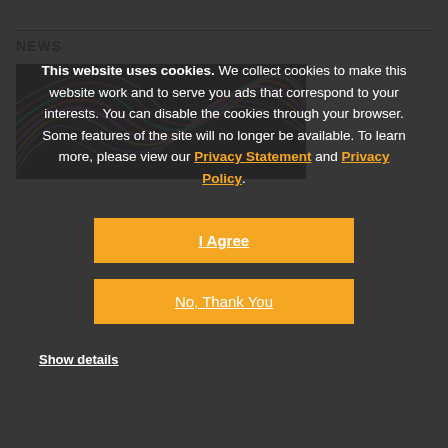NEWS
[Figure (photo): Colorful neon light swirl on black background, partially visible in top-left area behind cookie overlay]
This website uses cookies. We collect cookies to make this website work and to serve you ads that correspond to your interests. You can disable the cookies through your browser. Some features of the site will no longer be available. To learn more, please view our Privacy Statement and Privacy Policy.
I Agree
No, Thank You
Show details